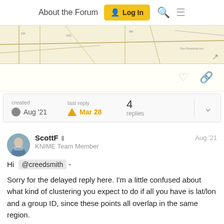About the Forum  Log In
[Figure (map): Partial map thumbnail showing streets and roads in a region]
created Aug '21   last reply Mar 28   4 replies
ScottF  KNIME Team Member  Aug '21

Hi @creedsmith -

Sorry for the delayed reply here. I'm a little confused about what kind of clustering you expect to do if all you have is lat/lon and a group ID, since these points all overlap in the same region.

If you cluster just based on what fields you have, I don't think a